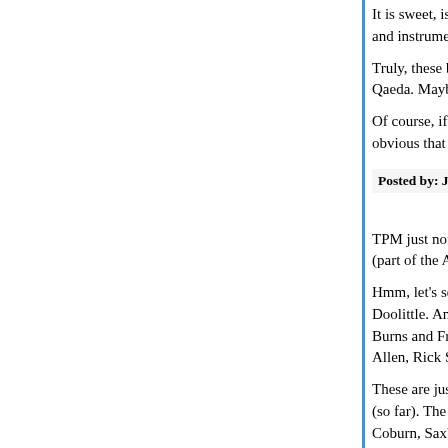It is sweet, is it not, that the CIA, and now the FBI and instruments of liberals?
Truly, these bitter gollums will be ungovernable. T Qaeda. Maybe the Homeland Security Departmen
Of course, if the Democratic Party doesn't take th obvious that it is the electorate who likes corrupt s
Posted by: John Thullen | October 17, 2006 at 12:26 AM
TPM just noted that Rep. John Doolittle is appare (part of the Abramoff probe).
Hmm, let's see: Cunningham, Ney, Delay, Foley, Doolittle. And Shimkus and Boehner should be o Burns and Frist are circling the bowl (but don't se Allen, Rick Santorum, and Ted Stevens are disgra
These are just the ones who have been demonstr (so far). The list of the simply insane is much lon Coburn, Saxby Chambliss and Chris Shays are a
Posted by: Sean | October 17, 2006 at 12:53 AM